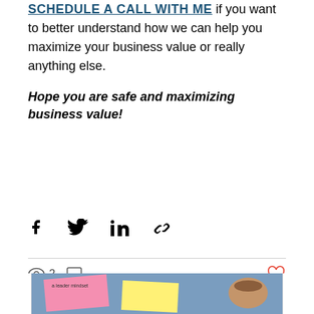SCHEDULE A CALL WITH ME if you want to better understand how we can help you maximize your business value or really anything else.
Hope you are safe and maximizing business value!
[Figure (infographic): Social share icons: Facebook, Twitter, LinkedIn, Link]
2 views, 0 comments, heart/like button
Recent Posts
See All
[Figure (photo): Blog post thumbnail showing sticky notes (pink, yellow) on a blue surface with text 'a leader mindset' and a coffee cup]